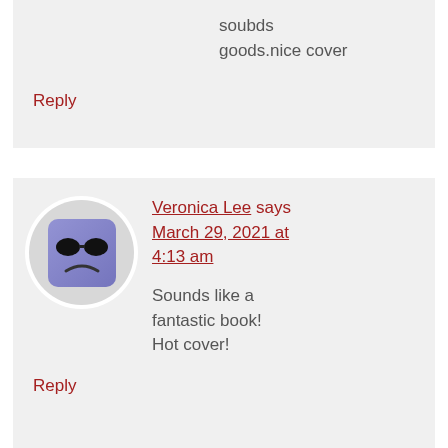soubds goods.nice cover
Reply
[Figure (illustration): Avatar of Veronica Lee: a purple cube-shaped character with dark oval sunglasses and a frown, inside a white circular frame]
Veronica Lee says March 29, 2021 at 4:13 am
Sounds like a fantastic book! Hot cover!
Reply